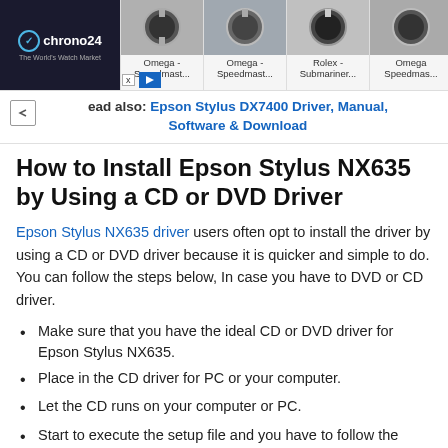[Figure (screenshot): Chrono24 advertisement banner showing watch products: Omega Speedmaster, Rolex Submariner]
Read also: Epson Stylus DX7400 Driver, Manual, Software & Download
How to Install Epson Stylus NX635 by Using a CD or DVD Driver
Epson Stylus NX635 driver users often opt to install the driver by using a CD or DVD driver because it is quicker and simple to do. You can follow the steps below, In case you have to DVD or CD driver.
Make sure that you have the ideal CD or DVD driver for Epson Stylus NX635.
Place in the CD driver for PC or your computer.
Let the CD runs on your computer or PC.
Start to execute the setup file and you have to follow the setup wizard.